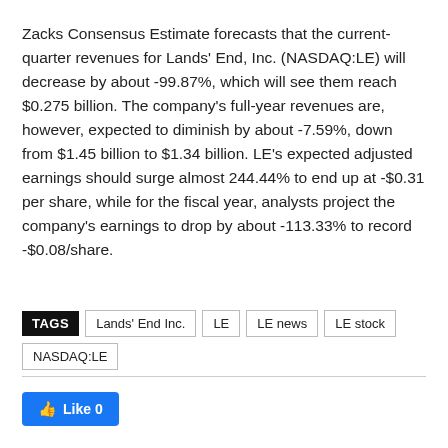Zacks Consensus Estimate forecasts that the current-quarter revenues for Lands' End, Inc. (NASDAQ:LE) will decrease by about -99.87%, which will see them reach $0.275 billion. The company's full-year revenues are, however, expected to diminish by about -7.59%, down from $1.45 billion to $1.34 billion. LE's expected adjusted earnings should surge almost 244.44% to end up at -$0.31 per share, while for the fiscal year, analysts project the company's earnings to drop by about -113.33% to record -$0.08/share.
TAGS: Lands' End Inc. | LE | LE news | LE stock | NASDAQ:LE